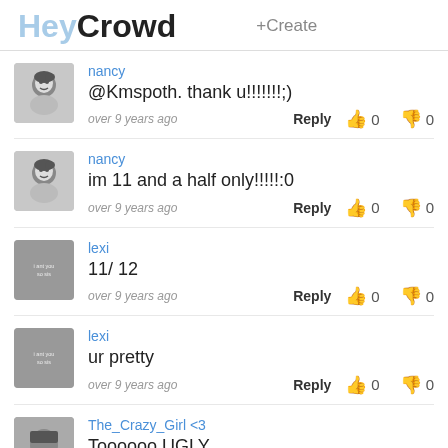HeyCrowd  +Create
nancy
@Kmspoth. thank u!!!!!!!;)
over 9 years ago   Reply  0  0
nancy
im 11 and a half only!!!!!:0
over 9 years ago   Reply  0  0
lexi
11/ 12
over 9 years ago   Reply  0  0
lexi
ur pretty
over 9 years ago   Reply  0  0
The_Crazy_Girl <3
Toooooo UGLY